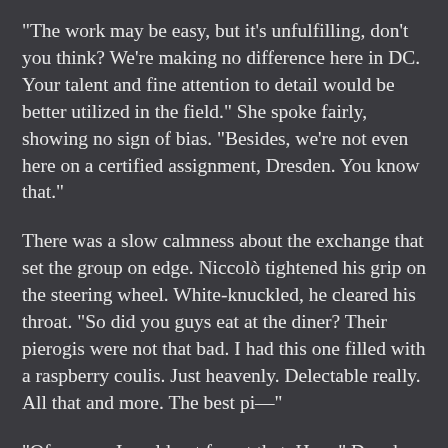“The work may be easy, but it’s unfulfilling, don’t you think? We’re making no difference here in DC. Your talent and fine attention to detail would be better utilized in the field.” She spoke fairly, showing no sign of bias. “Besides, we’re not even here on a certified assignment, Dresden. You know that.”
There was a slow calmness about the exchange that set the group on edge. Niccolò tightened his grip on the steering wheel. White-knuckled, he cleared his throat. “So did you guys eat at the diner? Their pierogis were not that bad. I had this one filled with a raspberry coulis. Just heavenly. Delectable really. All that and more. The best pi—”
“Of course, I could not forget that, Hera.” Dresden ignored Niccolò’s plea for normalcy. “I know we are here on punishment. A punishment which was grossly short for the offense.” Dresden turned his attention out the window so he didn’t have to make eye contact with Hera,